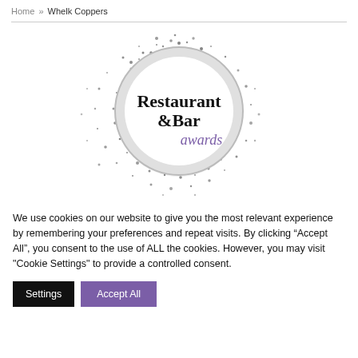Home » Whelk Coppers
[Figure (logo): Restaurant & Bar awards logo — circular badge with sparkle/glitter burst effect around it, text inside reads 'Restaurant &Bar awards' in serif and script fonts]
We use cookies on our website to give you the most relevant experience by remembering your preferences and repeat visits. By clicking "Accept All", you consent to the use of ALL the cookies. However, you may visit "Cookie Settings" to provide a controlled consent.
Settings
Accept All